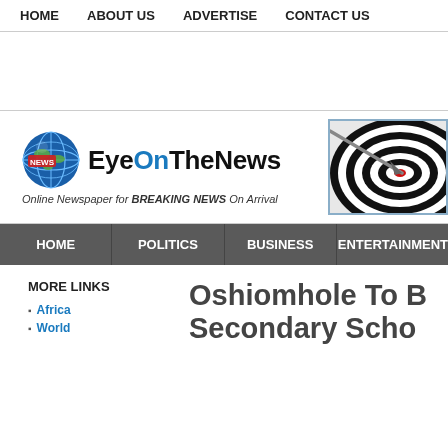HOME | ABOUT US | ADVERTISE | CONTACT US
[Figure (logo): EyeOnTheNews logo with globe icon and tagline: Online Newspaper for BREAKING NEWS On Arrival]
[Figure (illustration): Target/bullseye with arrow hitting center, black and white spiral pattern]
HOME | POLITICS | BUSINESS | ENTERTAINMENT
MORE LINKS
Africa
World
Oshiomhole To B... Secondary Scho...